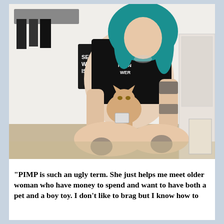[Figure (photo): A heavily tattooed woman with long blue hair sits on a floor holding a hairless Sphynx cat. She wears a black t-shirt with text on it. Behind her is a clothing rack with a bag that reads 'SEX WORK IS WORK'. The room has a white door and beige carpet.]
"PIMP is such an ugly term. She just helps me meet older woman who have money to spend and want to have both a pet and a boy toy. I don't like to brag but I know how to